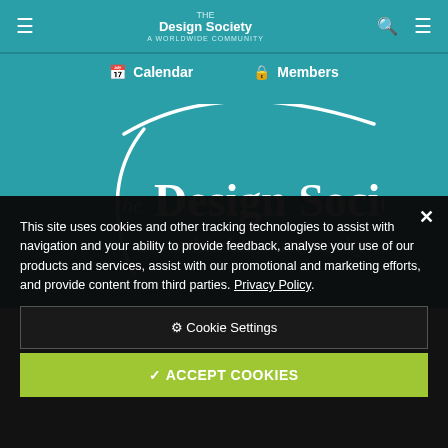The Design Society — a worldwide community — navigation bar with Calendar and Members links
[Figure (logo): The Design Society logo — white swoosh/arc graphic with 'the Design Society' in large white bold serif text and 'a worldwide community' in smaller italic text, on teal background]
This site uses cookies and other tracking technologies to assist with navigation and your ability to provide feedback, analyse your use of our products and services, assist with our promotional and marketing efforts, and provide content from third parties. Privacy Policy.
⚙ Cookie Settings
✓ ACCEPT COOKIES